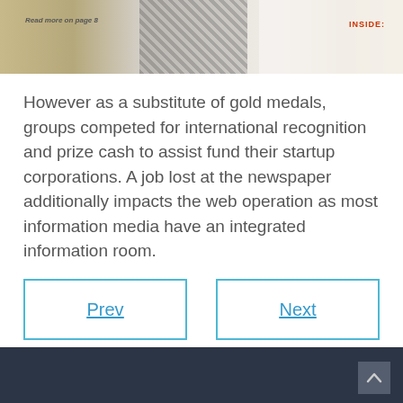[Figure (photo): Partial view of a person in a white shirt with a patterned tie, with 'Read more on page 8' text on the left and 'INSIDE:' text in red on the right.]
However as a substitute of gold medals, groups competed for international recognition and prize cash to assist fund their startup corporations. A job lost at the newspaper additionally impacts the web operation as most information media have an integrated information room.
Prev
Next